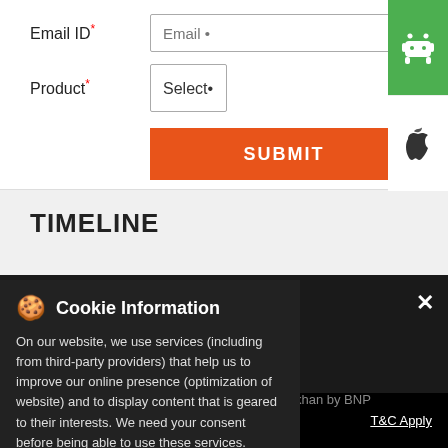Email ID* — Email •
Product* — Select•
SUBMIT
TIMELINE
Cookie Information
On our website, we use services (including from third-party providers) that help us to improve our online presence (optimization of website) and to display content that is geared to their interests. We need your consent before being able to use these services.
< Back to Timeline
aparkhi, Head of Technical Research at Sharekhan by BNP Paribas. Catch him live on the
Book Uber to Sharekhan
T&C Apply